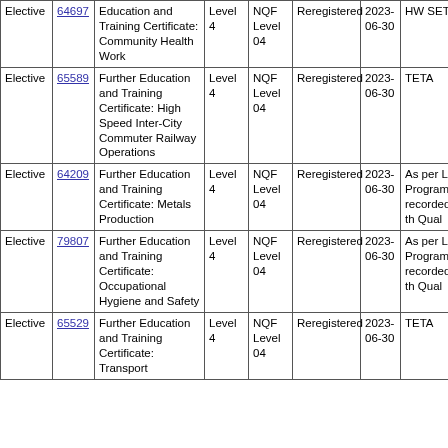| Type | ID | Qualification | Level | NQF Level | Status | End Date | SETA/Note |
| --- | --- | --- | --- | --- | --- | --- | --- |
| Elective | 64697 | Education and Training Certificate: Community Health Work | Level 4 | NQF Level 04 | Reregistered | 2023-06-30 | HW SETA |
| Elective | 65589 | Further Education and Training Certificate: High Speed Inter-City Commuter Railway Operations | Level 4 | NQF Level 04 | Reregistered | 2023-06-30 | TETA |
| Elective | 64209 | Further Education and Training Certificate: Metals Production | Level 4 | NQF Level 04 | Reregistered | 2023-06-30 | As per Learnership Programme recorded against the Qual |
| Elective | 79807 | Further Education and Training Certificate: Occupational Hygiene and Safety | Level 4 | NQF Level 04 | Reregistered | 2023-06-30 | As per Learnership Programme recorded against the Qual |
| Elective | 65529 | Further Education and Training Certificate: Transport | Level 4 | NQF Level 04 | Reregistered | 2023-06-30 | TETA |